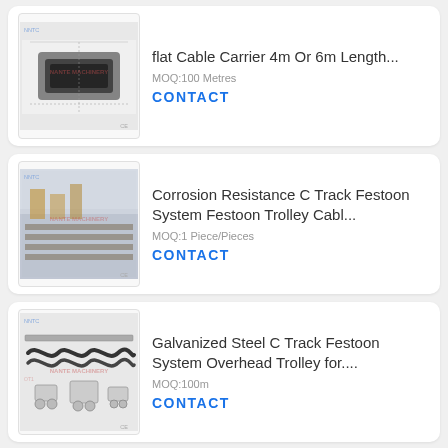[Figure (photo): Product image of a flat cable carrier/cable chain component with technical drawing overlay. Watermark: NANTE MACHINERY. CE mark visible.]
flat Cable Carrier 4m Or 6m Length...
MOQ:100 Metres
CONTACT
[Figure (photo): Product image showing C-track festoon system components in a warehouse/factory setting. Watermark: NANTE MACHINERY. CE mark visible.]
Corrosion Resistance C Track Festoon System Festoon Trolley Cabl...
MOQ:1 Piece/Pieces
CONTACT
[Figure (photo): Product image of galvanized steel C-track festoon system with spring cable and trolley components. Watermark: NANTE MACHINERY. CE mark visible.]
Galvanized Steel C Track Festoon System Overhead Trolley for....
MOQ:100m
CONTACT